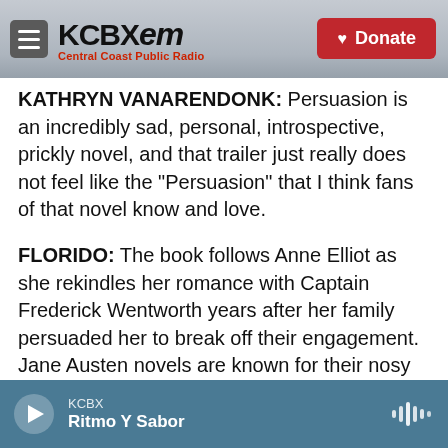KCBX FM — Central Coast Public Radio | Donate
KATHRYN VANARENDONK: Persuasion is an incredibly sad, personal, introspective, prickly novel, and that trailer just really does not feel like the "Persuasion" that I think fans of that novel know and love.
FLORIDO: The book follows Anne Elliot as she rekindles her romance with Captain Frederick Wentworth years after her family persuaded her to break off their engagement. Jane Austen novels are known for their nosy narrators who get inside characters' heads and tell the reader things only the characters themselves could know. In
KCBX — Ritmo Y Sabor